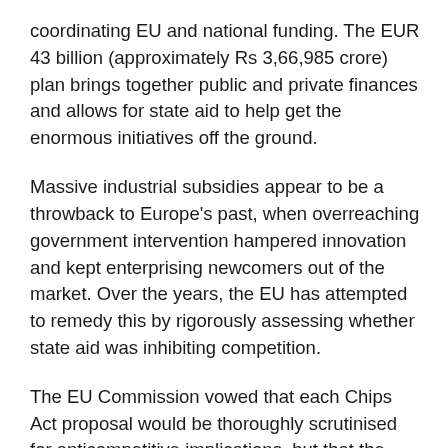coordinating EU and national funding. The EUR 43 billion (approximately Rs 3,66,985 crore) plan brings together public and private finances and allows for state aid to help get the enormous initiatives off the ground.
Massive industrial subsidies appear to be a throwback to Europe's past, when overreaching government intervention hampered innovation and kept enterprising newcomers out of the market. Over the years, the EU has attempted to remedy this by rigorously assessing whether state aid was inhibiting competition.
The EU Commission vowed that each Chips Act proposal would be thoroughly scrutinised for anticompetitive implications, but that the sheer scale of putting up manufacturing plants will necessitate a push if the bloc is to become a global competitor.